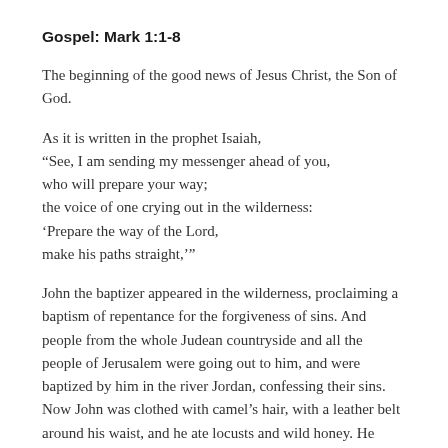Gospel: Mark 1:1-8
The beginning of the good news of Jesus Christ, the Son of God.
As it is written in the prophet Isaiah,
“See, I am sending my messenger ahead of you,
who will prepare your way;
the voice of one crying out in the wilderness:
‘Prepare the way of the Lord,
make his paths straight,’”
John the baptizer appeared in the wilderness, proclaiming a baptism of repentance for the forgiveness of sins. And people from the whole Judean countryside and all the people of Jerusalem were going out to him, and were baptized by him in the river Jordan, confessing their sins. Now John was clothed with camel’s hair, with a leather belt around his waist, and he ate locusts and wild honey. He proclaimed